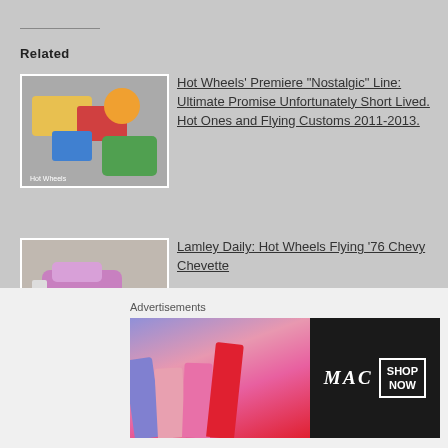Related
Hot Wheels' Premiere “Nostalgic” Line: Ultimate Promise Unfortunately Short Lived. Hot Ones and Flying Customs 2011-2013.
Lamley Daily: Hot Wheels Flying ‘76 Chevy Chevette
First Look: Hot Wheels Flying
Advertisements
[Figure (photo): MAC cosmetics advertisement banner showing lipsticks with MAC logo and SHOP NOW box]